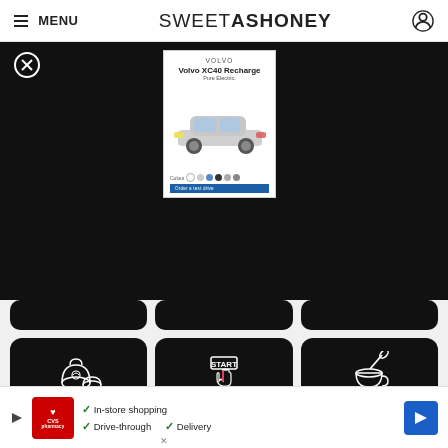≡ MENU   SWEETASHONEY 🔘
[Figure (screenshot): Black overlay with close button (X) and Volvo XC40 Recharge Pure Electric advertisement popup showing a white SUV with color selector dots]
[Figure (screenshot): Three partial black rounded card thumbnails (partially visible at top of content area)]
[Figure (infographic): Three black rounded cards with white icons and labels: KETO FLOURS (bag/bowl icon), FIGHTING KETO FLU (START button with cursor icon), HEALTHY SWEETENERS (coffee cup with spoon icon)]
Tried this recipe?
[Figure (screenshot): CVS Pharmacy banner advertisement showing: In-store shopping, Drive-through, Delivery with a blue navigation arrow icon]